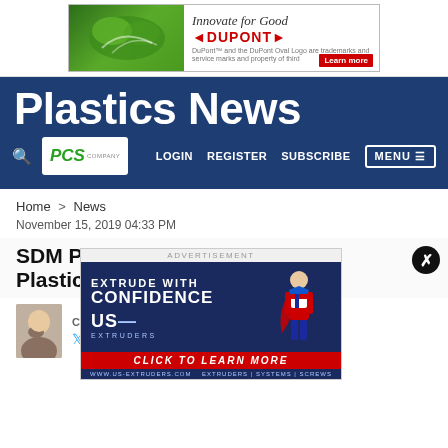[Figure (screenshot): DuPont advertisement banner: 'Innovate for Good' with DuPont logo and 'Learn more' button, green background on left with plant imagery]
[Figure (screenshot): Plastics News website header with dark blue background, large white bold 'Plastics News' title, PCS Company logo, navigation links (LOGIN, REGISTER, SUBSCRIBE), search icon, and MENU button]
Home > News
November 15, 2019 04:33 PM
SDM Plastics acquires Accent Plastics
CATHERINE KAVANAUGH
[Figure (screenshot): US Extruders advertisement: 'EXTRUDE WITH CONFIDENCE' on dark blue background with superhero illustration, 'CLICK TO LEARN MORE' red banner, website footer]
Plastics Ne...